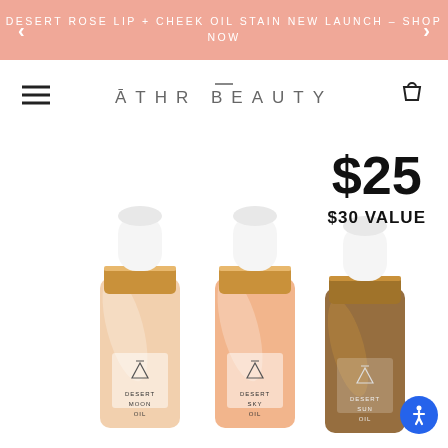DESERT ROSE LIP + CHEEK OIL STAIN NEW LAUNCH – SHOP NOW
[Figure (logo): ATHR BEAUTY brand logo with hamburger menu and cart icon in navigation bar]
$25
$30 VALUE
[Figure (photo): Three dropper bottles of ATHR BEAUTY oils: Desert Moon Oil (light peach/champagne), Desert Sky Oil (peach/coral), Desert Sun Oil (bronze/brown), each with white dropper top and gold collar]